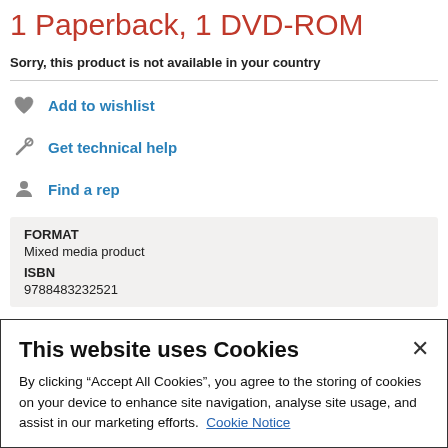1 Paperback, 1 DVD-ROM
Sorry, this product is not available in your country
Add to wishlist
Get technical help
Find a rep
| FORMAT | Mixed media product |
| ISBN | 9788483232521 |
This website uses Cookies
By clicking “Accept All Cookies”, you agree to the storing of cookies on your device to enhance site navigation, analyse site usage, and assist in our marketing efforts. Cookie Notice